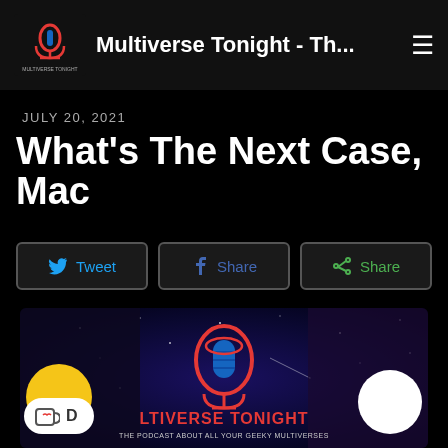Multiverse Tonight - Th...
JULY 20, 2021
What's The Next Case, Mac
Tweet | Share | Share
[Figure (illustration): Multiverse Tonight podcast logo on a starry space background with red and blue microphone logo and text 'LTIVERSE TONIGHT - THE PODCAST ABOUT ALL YOUR GEEKY MULTIVERSES'. Ko-fi button and a white circle button overlay at the bottom.]